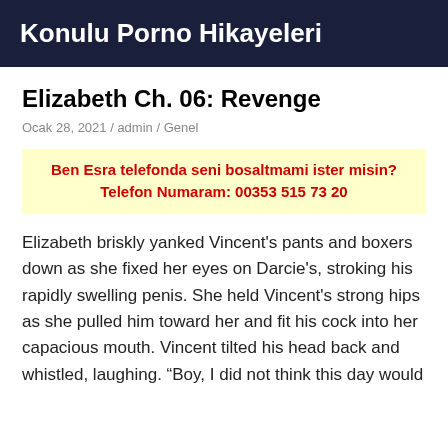Konulu Porno Hikayeleri
Elizabeth Ch. 06: Revenge
Ocak 28, 2021 / admin / Genel
Ben Esra telefonda seni bosaltmami ister misin? Telefon Numaram: 00353 515 73 20
Elizabeth briskly yanked Vincent's pants and boxers down as she fixed her eyes on Darcie's, stroking his rapidly swelling penis. She held Vincent's strong hips as she pulled him toward her and fit his cock into her capacious mouth. Vincent tilted his head back and whistled, laughing. “Boy, I did not think this day would